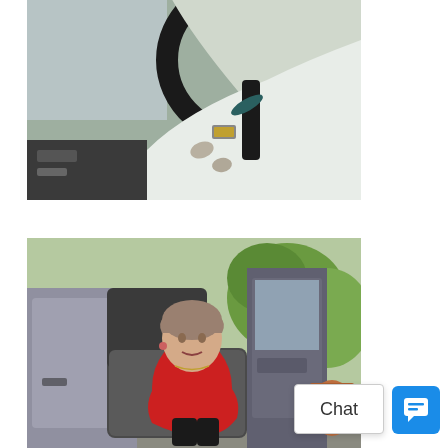[Figure (photo): Close-up photo of a person's arm/hand gripping a car steering wheel, wearing a light-colored jacket and wristwatch, with car interior visible in background]
Hand Controls
[Figure (photo): Photo of an elderly woman wearing a red top seated in a car seat that has rotated outward from a vehicle, with the car door open and trees/outdoor background visible]
[Figure (screenshot): Chat button UI element: white rectangle labeled 'Chat' and a blue square button with a chat bubble icon]